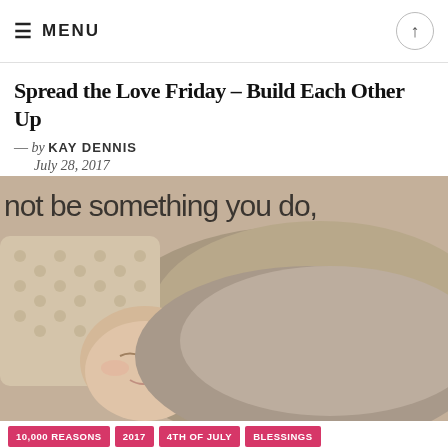≡ MENU
Spread the Love Friday – Build Each Other Up
— by KAY DENNIS
July 28, 2017
[Figure (photo): A sleeping newborn baby wrapped in a knitted blanket, with text overlay reading 'not be something you do,']
10,000 REASONS
2017
4TH OF JULY
BLESSINGS
BLOG DEVOTIONAL
BLOGGING CONTESTS
BLOGGING TIPS
BLOGSPOT
BULLYING
CARING
CATS
CELEBRATING